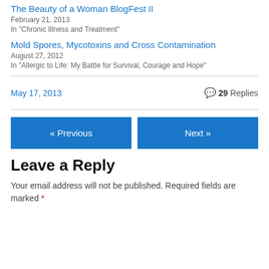The Beauty of a Woman BlogFest II
February 21, 2013
In "Chronic Illness and Treatment"
Mold Spores, Mycotoxins and Cross Contamination
August 27, 2012
In "Allergic to Life: My Battle for Survival, Courage and Hope"
May 17, 2013
29 Replies
« Previous
Next »
Leave a Reply
Your email address will not be published. Required fields are marked *